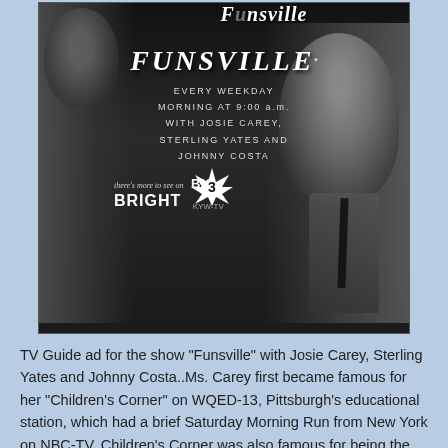[Figure (photo): Black and white TV Guide advertisement for the show 'Funsville' on KYW-TV Channel 3. Shows the show title 'FUNSVILLE' in large italic lettering, text reading 'EVERY WEEKDAY MORNING AT 9:00 a.m. WITH JOSIE CAREY, STERLING YATES AND JOHNNY COSTA', a starburst graphic with '3', and 'BIG BRIGHT KYW-TV' branding. Photographic figures of performers on left and right sides.]
TV Guide ad for the show "Funsville" with Josie Carey, Sterling Yates and Johnny Costa..Ms. Carey first became famous for her "Children's Corner" on WQED-13, Pittsburgh's educational station, which had a brief Saturday Morning Run from New York on NBC-TV. Children's Corner was also famous for being the first TV exposure for Fred Rogers..He (and his sweater) would become a Childrens TV Icon through Misterrogers Neighborhood on NET/PBS for many years..Funsville, which originated at Westinghouse's